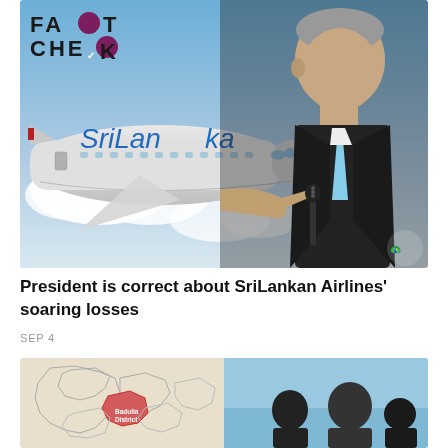[Figure (photo): Composite image of a SriLankan Airlines aircraft with 'FACT CHECK' logo overlay and a man in a suit pointing, at a press conference with microphone and SriLankan Airlines peacock logo visible]
President is correct about SriLankan Airlines' soaring losses
SEP 4
[Figure (photo): Two-panel image: left shows a map of Sri Lanka with Badulla District highlighted in red/pink; right shows silhouettes of people against a light blue background]